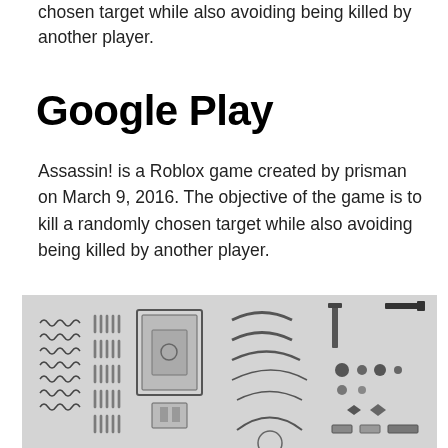chosen target while also avoiding being killed by another player.
Google Play
Assassin! is a Roblox game created by prisman on March 9, 2016. The objective of the game is to kill a randomly chosen target while also avoiding being killed by another player.
[Figure (photo): Flat lay / knolling photograph of mechanical parts and hardware components arranged in rows on a light gray background, shown in black and white. Parts include wavy metal strips, screws, bolts, curved brackets, a rectangular metal frame, small circular pieces, and other hardware components.]